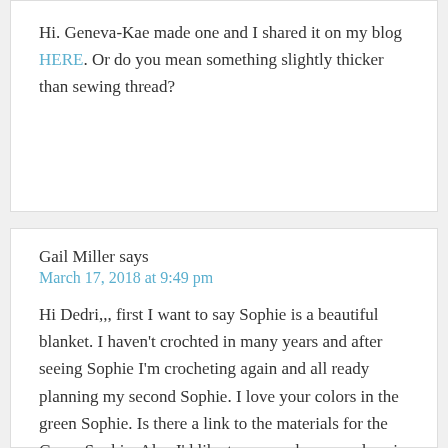Hi. Geneva-Kae made one and I shared it on my blog HERE. Or do you mean something slightly thicker than sewing thread?
Gail Miller says
March 17, 2018 at 9:49 pm
Hi Dedri,,, first I want to say Sophie is a beautiful blanket. I haven't crochted in many years and after seeing Sophie I'm crocheting again and all ready planning my second Sophie. I love your colors in the green Sophie. Is there a link to the materials for the Green Sophie. Also I'd like to say we have no place in the USA that sells your book. I think the books would fly off the shelves. Last one I saw